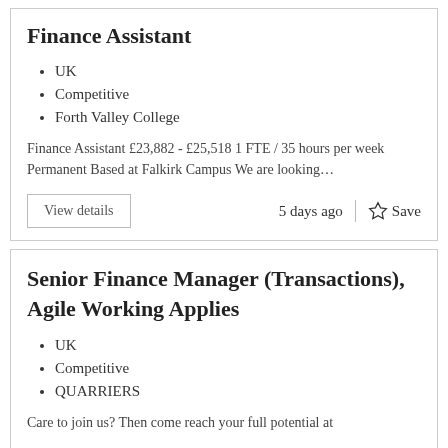Finance Assistant
UK
Competitive
Forth Valley College
Finance Assistant £23,882 - £25,518 1 FTE / 35 hours per week Permanent Based at Falkirk Campus We are looking…
View details     5 days ago     Save
Senior Finance Manager (Transactions), Agile Working Applies
UK
Competitive
QUARRIERS
Care to join us? Then come reach your full potential at